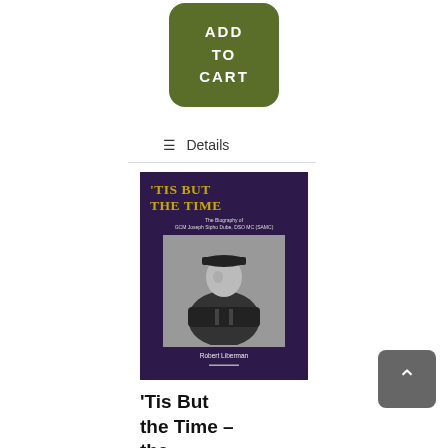[Figure (other): Green rounded rectangle button with white text 'ADD TO CART']
Details
[Figure (photo): Book cover for 'Tis But the Time – the Biography of GCM Joseph Sipho Dube, DSO MC (SAMC)' by Robert Liberman, showing a military officer in black and white photograph on dark purple background with gold title text]
'Tis But the Time – the Biography